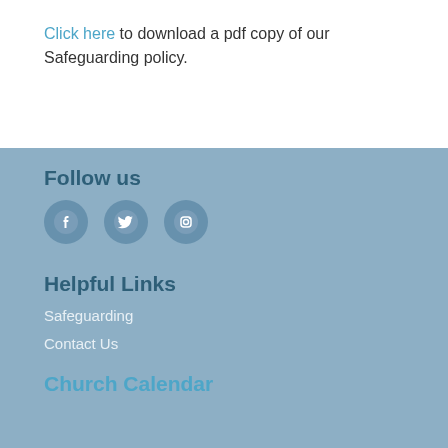Click here to download a pdf copy of our Safeguarding policy.
Follow us
[Figure (illustration): Three social media icons: Facebook, Twitter, Instagram]
Helpful Links
Safeguarding
Contact Us
Church Calendar